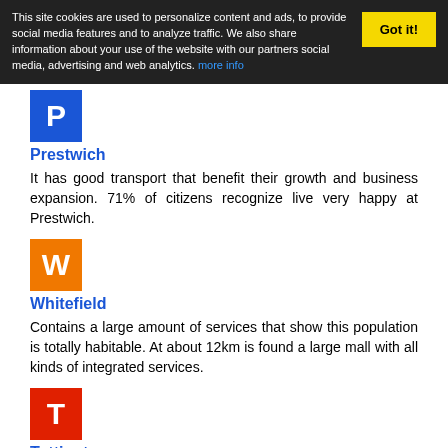This site cookies are used to personalize content and ads, to provide social media features and to analyze traffic. We also share information about your use of the website with our partners social media, advertising and web analytics. more info  Got it!
[Figure (illustration): Blue square with white capital letter P]
Prestwich
It has good transport that benefit their growth and business expansion. 71% of citizens recognize live very happy at Prestwich.
[Figure (illustration): Orange square with white capital letter W]
Whitefield
Contains a large amount of services that show this population is totally habitable. At about 12km is found a large mall with all kinds of integrated services.
[Figure (illustration): Red square with white capital letter T]
Tottington
41% of people working in the sector directly or indirectly car. Another vast majority of the citizens of Tottington are